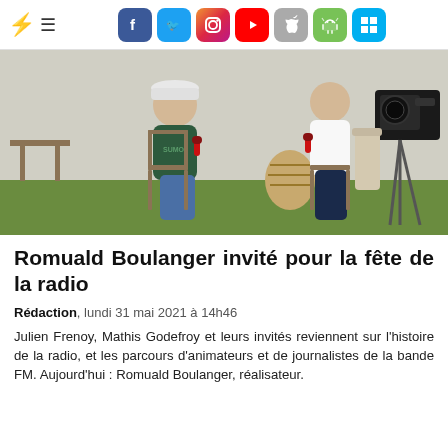⚡ ≡ [Facebook] [Twitter] [Instagram] [YouTube] [Apple] [Android] [Windows]
[Figure (photo): Two men seated facing each other in an informal interview setting on green turf. The man on the left wears a dark green hoodie with 'SUMO' text and a white cap, holding a red microphone. The man on the right wears a white dress shirt and holds a red microphone. A professional video camera is visible on the right. Wicker basket and wooden chairs in background.]
Romuald Boulanger invité pour la fête de la radio
Rédaction, lundi 31 mai 2021 à 14h46
Julien Frenoy, Mathis Godefroy et leurs invités reviennent sur l'histoire de la radio, et les parcours d'animateurs et de journalistes de la bande FM. Aujourd'hui : Romuald Boulanger, réalisateur.